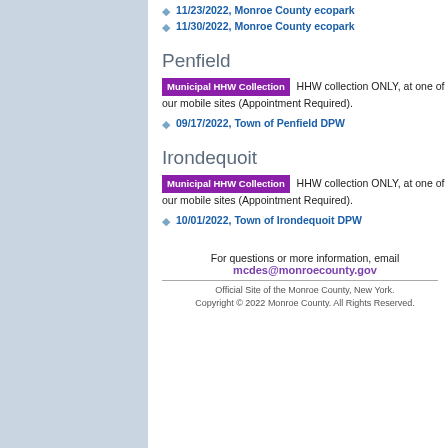11/23/2022, Monroe County ecopark
11/30/2022, Monroe County ecopark
Penfield
Municipal HHW Collection HHW collection ONLY, at one of our mobile sites (Appointment Required).
09/17/2022, Town of Penfield DPW
Irondequoit
Municipal HHW Collection HHW collection ONLY, at one of our mobile sites (Appointment Required).
10/01/2022, Town of Irondequoit DPW
For questions or more information, email mcdes@monroecounty.gov
Official Site of the Monroe County, New York. Copyright © 2022 Monroe County. All Rights Reserved.